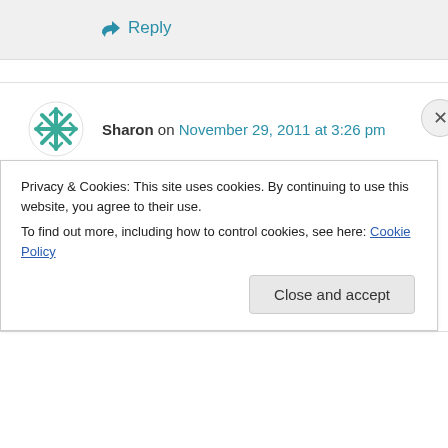↳ Reply
Sharon on November 29, 2011 at 3:26 pm
You can't get stuck in an intersection if you didn't drive into it in the first place. Drivers are meant to make sure they can get completely through an
Privacy & Cookies: This site uses cookies. By continuing to use this website, you agree to their use.
To find out more, including how to control cookies, see here: Cookie Policy
Close and accept